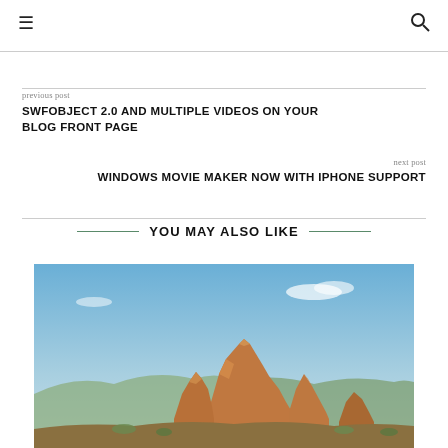≡  🔍
previous post
SWFOBJECT 2.0 AND MULTIPLE VIDEOS ON YOUR BLOG FRONT PAGE
next post
WINDOWS MOVIE MAKER NOW WITH IPHONE SUPPORT
YOU MAY ALSO LIKE
[Figure (photo): Landscape photo of red rock formations (similar to Sedona, Arizona) with blue sky and scattered clouds]